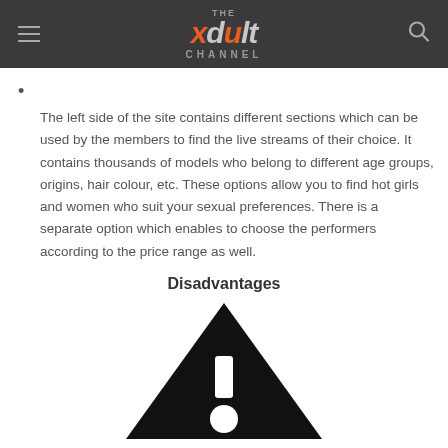THE xdult CHANNEL
The left side of the site contains different sections which can be used by the members to find the live streams of their choice. It contains thousands of models who belong to different age groups, origins, hair colour, etc. These options allow you to find hot girls and women who suit your sexual preferences. There is a separate option which enables to choose the performers according to the price range as well.
Disadvantages
[Figure (illustration): Black warning/caution triangle icon (partially visible, cut off at bottom of page)]